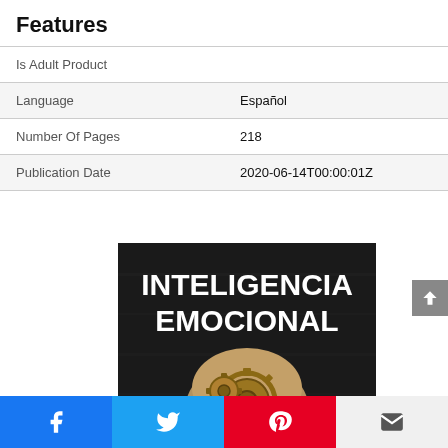Features
| Is Adult Product |  |
| Language | Español |
| Number Of Pages | 218 |
| Publication Date | 2020-06-14T00:00:01Z |
[Figure (illustration): Book cover for 'Inteligencia Emocional' showing bold white text on dark background with steampunk gear brain illustration]
Facebook | Twitter | Pinterest | Email